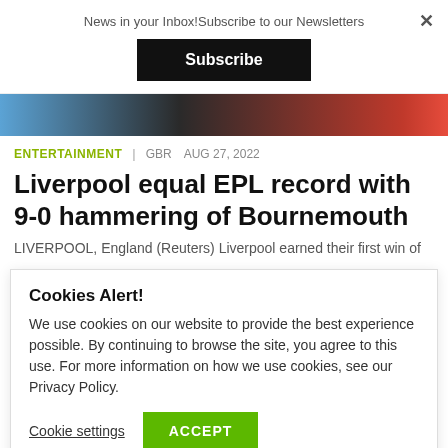News in your Inbox!Subscribe to our Newsletters
Subscribe
[Figure (photo): A blurred dark photo strip showing a person, used as article hero image]
ENTERTAINMENT | GBR  AUG 27, 2022
Liverpool equal EPL record with 9-0 hammering of Bournemouth
LIVERPOOL, England (Reuters) Liverpool earned their first win of
Cookies Alert!
We use cookies on our website to provide the best experience possible. By continuing to browse the site, you agree to this use. For more information on how we use cookies, see our Privacy Policy.
Cookie settings
ACCEPT